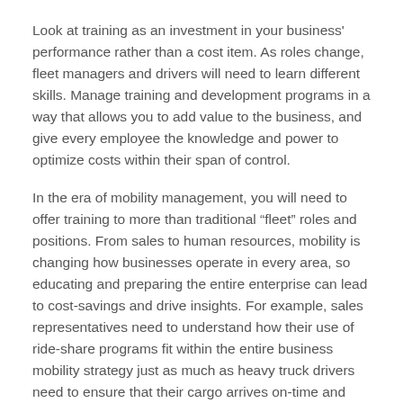Look at training as an investment in your business' performance rather than a cost item. As roles change, fleet managers and drivers will need to learn different skills. Manage training and development programs in a way that allows you to add value to the business, and give every employee the knowledge and power to optimize costs within their span of control.
In the era of mobility management, you will need to offer training to more than traditional “fleet” roles and positions. From sales to human resources, mobility is changing how businesses operate in every area, so educating and preparing the entire enterprise can lead to cost-savings and drive insights. For example, sales representatives need to understand how their use of ride-share programs fit within the entire business mobility strategy just as much as heavy truck drivers need to ensure that their cargo arrives on-time and safely.
We also can empower the next generation of mobility managers to work more efficiently through technology. New mobile device apps can increase efficiency and flexibility throughout a business. The latest apps enable drivers to schedule maintenance appointments for tires or regular vehicle maintenance directly from their mobile